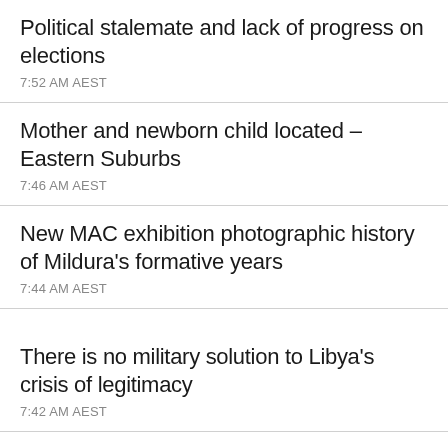Political stalemate and lack of progress on elections
7:52 AM AEST
Mother and newborn child located – Eastern Suburbs
7:46 AM AEST
New MAC exhibition photographic history of Mildura's formative years
7:44 AM AEST
There is no military solution to Libya's crisis of legitimacy
7:42 AM AEST
Even with improvements in lipid levels, disparities remain as cardiovascular disease risk factor
7:36 AM AEST